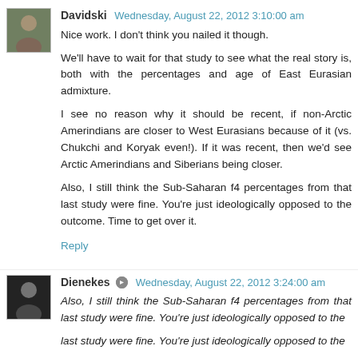[Figure (photo): User avatar for Davidski - small square photo of a person]
Davidski Wednesday, August 22, 2012 3:10:00 am
Nice work. I don't think you nailed it though.
We'll have to wait for that study to see what the real story is, both with the percentages and age of East Eurasian admixture.
I see no reason why it should be recent, if non-Arctic Amerindians are closer to West Eurasians because of it (vs. Chukchi and Koryak even!). If it was recent, then we'd see Arctic Amerindians and Siberians being closer.
Also, I still think the Sub-Saharan f4 percentages from that last study were fine. You're just ideologically opposed to the outcome. Time to get over it.
Reply
[Figure (photo): User avatar for Dienekes - small square photo of a person]
Dienekes Wednesday, August 22, 2012 3:24:00 am
Also, I still think the Sub-Saharan f4 percentages from that last study were fine. You're just ideologically opposed to the